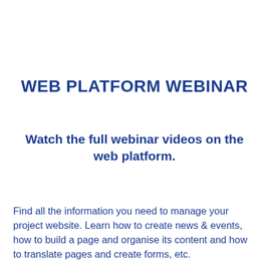WEB PLATFORM WEBINAR
Watch the full webinar videos on the web platform.
Find all the information you need to manage your project website. Learn how to create news & events, how to build a page and organise its content and how to translate pages and create forms, etc.